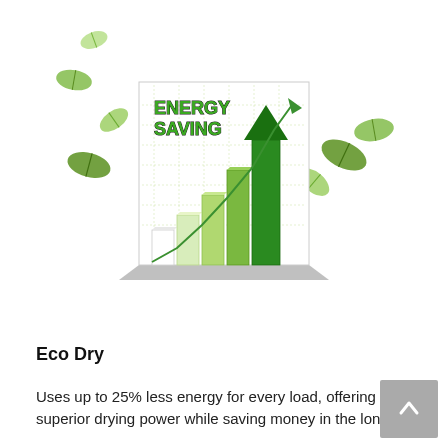[Figure (illustration): Energy Saving illustration: a 3D bar chart with green bars increasing in height, a rising trend line with an arrow pointing up-right, text reading 'ENERGY SAVING' in bold green letters, surrounded by scattered green leaves on a white background.]
Eco Dry
Uses up to 25% less energy for every load, offering superior drying power while saving money in the long